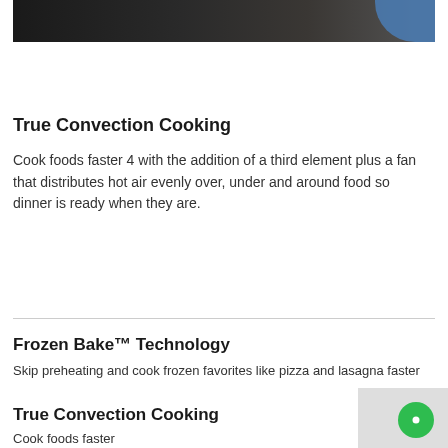[Figure (photo): Partial photo of an oven/appliance with a person wearing a blue glove, dark kitchen background]
True Convection Cooking
Cook foods faster 4 with the addition of a third element plus a fan that distributes hot air evenly over, under and around food so dinner is ready when they are.
Frozen Bake™ Technology
Skip preheating and cook frozen favorites like pizza and lasagna faster
True Convection Cooking
Cook foods faster